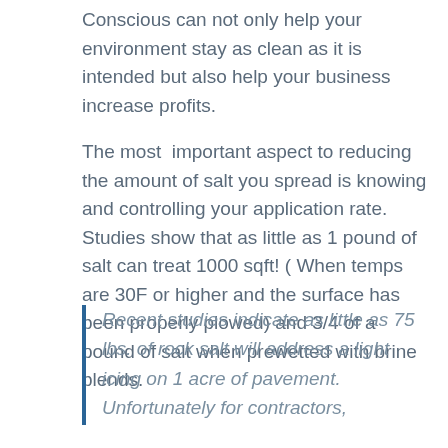Conscious can not only help your environment stay as clean as it is intended but also help your business increase profits.
The most important aspect to reducing the amount of salt you spread is knowing and controlling your application rate. Studies show that as little as 1 pound of salt can treat 1000 sqft! ( When temps are 30F or higher and the surface has been properly plowed) and 3/4 of a pound of salt when prewetted with brine blends.
Recent studies indicate as little as 75 lbs. of rock salt will address a light icing on 1 acre of pavement. Unfortunately for contractors,